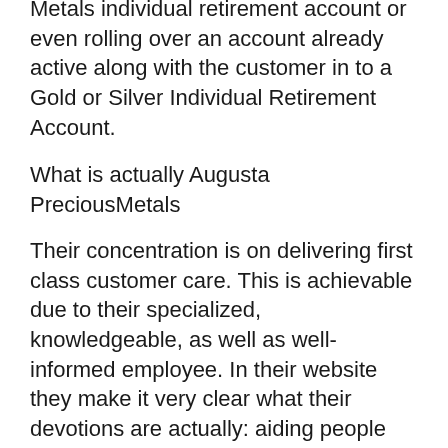Metals individual retirement account or even rolling over an account already active along with the customer in to a Gold or Silver Individual Retirement Account.
What is actually Augusta PreciousMetals
Their concentration is on delivering first class customer care. This is achievable due to their specialized, knowledgeable, as well as well-informed employee. In their website they make it very clear what their devotions are actually: aiding people personalize their profile depending on to their necessities, streamlining as high as 95% of the work with their customers, and also being 100% transparent along with charges and also